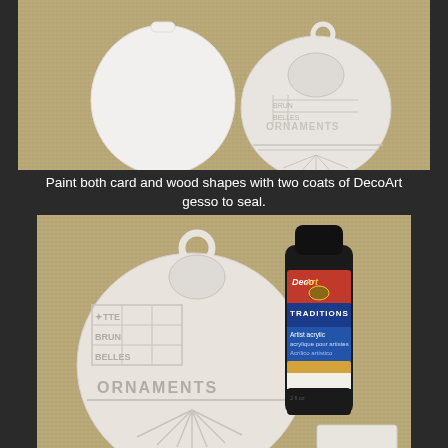[Figure (photo): Two white gesso-coated ornament shapes on a tan fabric background — a plain round card shape on the left and a decorative wood ornament with embossed text 'ORNAMENTS' on the right]
Paint both card and wood shapes with two coats of DecoArt gesso to seal.
[Figure (photo): A large white embossed wood ornament with 'ORNAMENTS' text and decorative relief design, next to a bottle of DecoArt Traditions artist acrylic paint on a tan fabric background]